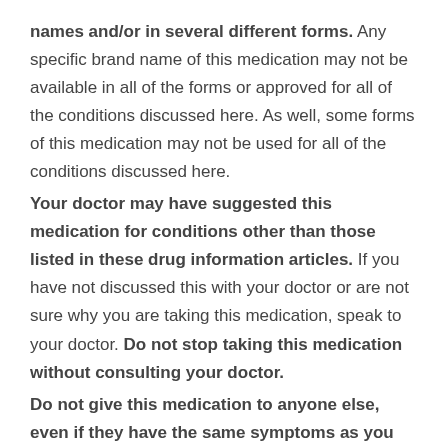names and/or in several different forms. Any specific brand name of this medication may not be available in all of the forms or approved for all of the conditions discussed here. As well, some forms of this medication may not be used for all of the conditions discussed here.
Your doctor may have suggested this medication for conditions other than those listed in these drug information articles. If you have not discussed this with your doctor or are not sure why you are taking this medication, speak to your doctor. Do not stop taking this medication without consulting your doctor.
Do not give this medication to anyone else, even if they have the same symptoms as you do. It can be harmful for people to take this medication if their doctor has not prescribed it.
What form(s) does this medication come in?
Act-Clomipramine is no longer being manufactured for